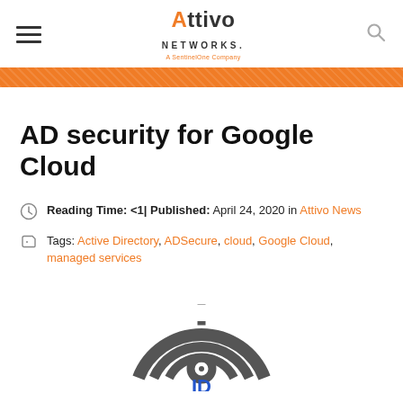Attivo Networks. A SentinelOne Company
AD security for Google Cloud
Reading Time: <1 | Published: April 24, 2020 in Attivo News
Tags: Active Directory, ADSecure, cloud, Google Cloud, managed services
[Figure (logo): Circular target/scope icon with 'ID' text at bottom in blue, shown in dark gray concentric arcs]